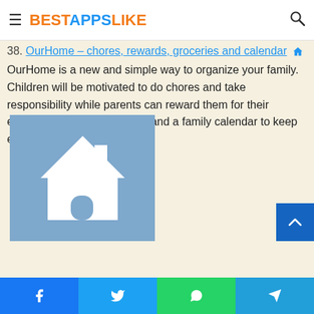BESTAPPSLIKE
38. OurHome – chores, rewards, groceries and calendar
OurHome is a new and simple way to organize your family. Children will be motivated to do chores and take responsibility while parents can reward them for their efforts. There's a grocery list and a family calendar to keep everyone consistent. It is free
[Figure (illustration): App icon for OurHome: blue/slate background with a white house silhouette illustration]
Facebook, Twitter, WhatsApp, Telegram share buttons